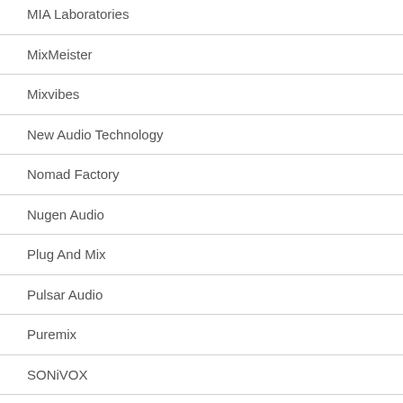MIA Laboratories
MixMeister
Mixvibes
New Audio Technology
Nomad Factory
Nugen Audio
Plug And Mix
Pulsar Audio
Puremix
SONiVOX
Sonoris